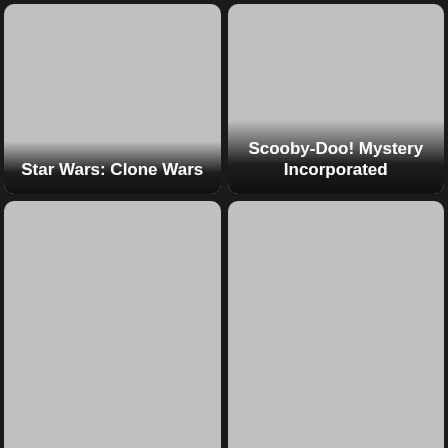[Figure (illustration): TV show thumbnail card for Star Wars: Clone Wars with gray placeholder image and title overlay at bottom]
[Figure (illustration): TV show thumbnail card for Scooby-Doo! Mystery Incorporated with gray placeholder image and title overlay at bottom]
[Figure (illustration): TV show thumbnail card for Vanderpump Rules with gray placeholder image and title overlay at bottom]
[Figure (illustration): TV show thumbnail card for Hanna with gray placeholder image and title overlay at bottom]
[Figure (illustration): Partially visible TV show thumbnail card at bottom left, gray placeholder]
[Figure (illustration): Partially visible TV show thumbnail card at bottom right, gray placeholder]